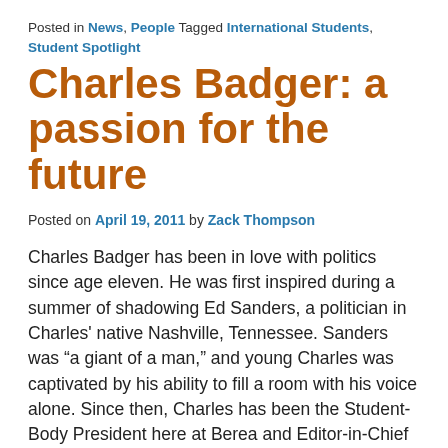Posted in News, People Tagged International Students, Student Spotlight
Charles Badger: a passion for the future
Posted on April 19, 2011 by Zack Thompson
Charles Badger has been in love with politics since age eleven. He was first inspired during a summer of shadowing Ed Sanders, a politician in Charles' native Nashville, Tennessee. Sanders was “a giant of a man,” and young Charles was captivated by his ability to fill a room with his voice alone. Since then, Charles has been the Student-Body President here at Berea and Editor-in-Chief of the school newspaper, and he has participated in internships under Federal